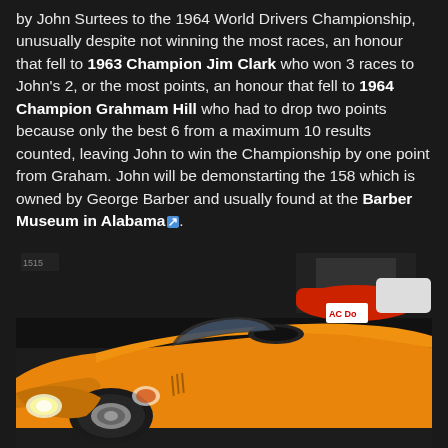by John Surtees to the 1964 World Drivers Championship, unusually despite not winning the most races, an honour that fell to 1963 Champion Jim Clark who won 3 races to John's 2, or the most points, an honour that fell to 1964 Champion Grahmam Hill who had to drop two points because only the best 6 from a maximum 10 results counted, leaving John to win the Championship by one point from Graham. John will be demonstarting the 158 which is owned by George Barber and usually found at the Barber Museum in Alabama.
[Figure (photo): Yellow vintage Ferrari racing car (the 158) displayed in a museum setting, viewed from a front three-quarter angle. The car is bright yellow/orange with a sleek body, visible cockpit, and front headlights. Other cars visible in the background.]